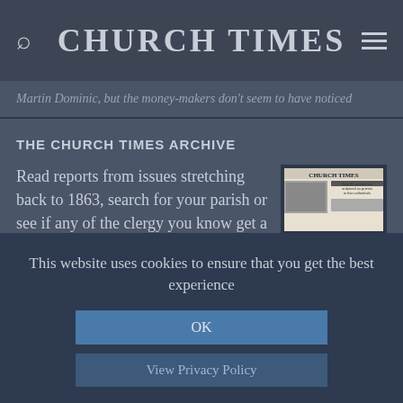CHURCH TIMES
Martin Dominic, but the money-makers don't seem to have noticed
THE CHURCH TIMES ARCHIVE
Read reports from issues stretching back to 1863, search for your parish or see if any of the clergy you know get a mention.
FREE for Church Times subscribers.
Explore the archive
[Figure (screenshot): Church Times newspaper front pages collage showing historical issues]
This website uses cookies to ensure that you get the best experience
OK
View Privacy Policy